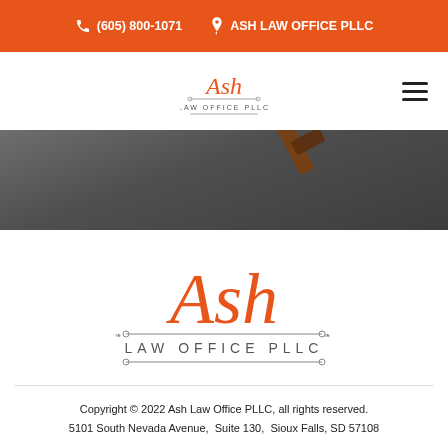(605) 800-1071  ASH LAW OFFICE PLLC
[Figure (logo): Ash Law Office PLLC logo in navigation bar, small size with cursive Ash text and decorative underline]
[Figure (photo): Dark gray hero image with partially visible gavel]
[Figure (logo): Ash Law Office PLLC large logo with cursive orange Ash script and LAW OFFICE PLLC text with decorative lines]
Copyright © 2022 Ash Law Office PLLC, all rights reserved. 5101 South Nevada Avenue,  Suite 130,  Sioux Falls, SD 57108
≡ Menu